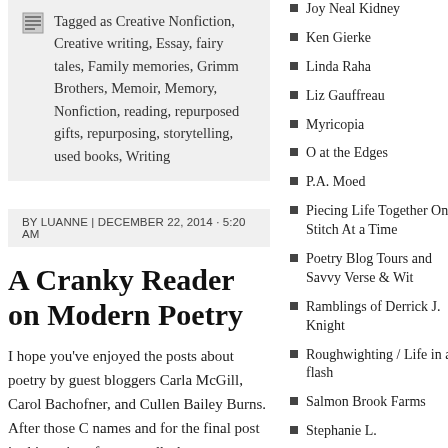Tagged as Creative Nonfiction, Creative writing, Essay, fairy tales, Family memories, Grimm Brothers, Memoir, Memory, Nonfiction, reading, repurposed gifts, repurposing, storytelling, used books, Writing
BY LUANNE | DECEMBER 22, 2014 · 5:20 AM
A Cranky Reader on Modern Poetry
I hope you've enjoyed the posts about poetry by guest bloggers Carla McGill, Carol Bachofner, and Cullen Bailey Burns. After those C names and for the final post in this series of poetry talks by guest
Joy Neal Kidney
Ken Gierke
Linda Raha
Liz Gauffreau
Myricopia
O at the Edges
P.A. Moed
Piecing Life Together One Stitch At a Time
Poetry Blog Tours and Savvy Verse & Wit
Ramblings of Derrick J. Knight
Roughwighting / Life in a flash
Salmon Brook Farms
Stephanie L.